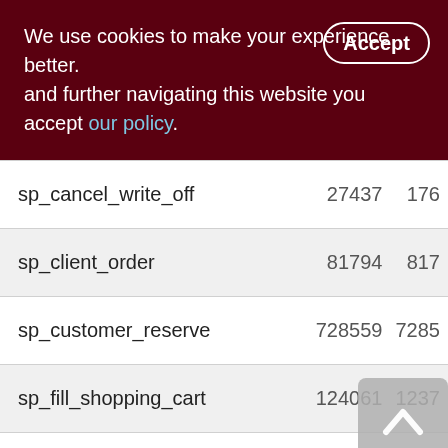We use cookies to make your experience better. By accepting and further navigating this website you accept our policy.
|  |  |  |
| --- | --- | --- |
| sp_cancel_write_off | 27437 | 176 |
| sp_client_order | 81794 | 817 |
| sp_customer_reserve | 728559 | 7285 |
| sp_fill_shopping_cart | 124061 | 1237 |
| sp_fill_shopping_cart_clo_res | 728559 | 7285 |